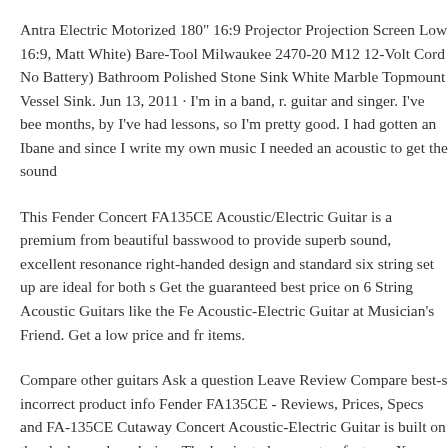Antra Electric Motorized 180" 16:9 Projector Projection Screen Low 16:9, Matt White) Bare-Tool Milwaukee 2470-20 M12 12-Volt Cord No Battery) Bathroom Polished Stone Sink White Marble Topmount Vessel Sink. Jun 13, 2011 · I'm in a band, r. guitar and singer. I've bee months, by I've had lessons, so I'm pretty good. I had gotten an Ibane and since I write my own music I needed an acoustic to get the sound
This Fender Concert FA135CE Acoustic/Electric Guitar is a premium from beautiful basswood to provide superb sound, excellent resonance right-handed design and standard six string set up are ideal for both s Get the guaranteed best price on 6 String Acoustic Guitars like the Fe Acoustic-Electric Guitar at Musician's Friend. Get a low price and fr items.
Compare other guitars Ask a question Leave Review Compare best-s incorrect product info Fender FA135CE - Reviews, Prices, Specs and FA-135CE Cutaway Concert Acoustic-Electric Guitar is built on the sleek, modern design. The laminated spruce top features X-bracing f